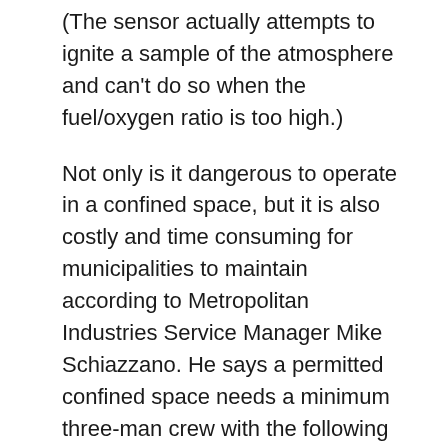(The sensor actually attempts to ignite a sample of the atmosphere and can't do so when the fuel/oxygen ratio is too high.)
Not only is it dangerous to operate in a confined space, but it is also costly and time consuming for municipalities to maintain according to Metropolitan Industries Service Manager Mike Schiazzano. He says a permitted confined space needs a minimum three-man crew with the following safety gear; two multi function gas monitors, tripod with safety retrieval line, safety harness, a fresh air blower, a fresh air tank with airline, respirator and escape pack. Training the crew